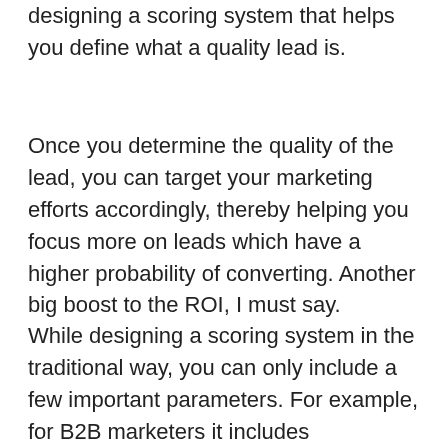designing a scoring system that helps you define what a quality lead is.
Once you determine the quality of the lead, you can target your marketing efforts accordingly, thereby helping you focus more on leads which have a higher probability of converting. Another big boost to the ROI, I must say.
While designing a scoring system in the traditional way, you can only include a few important parameters. For example, for B2B marketers it includes parameters such as company size, industry, etc. But, when you use automation, you can set as many advanced parameters as you like, such as